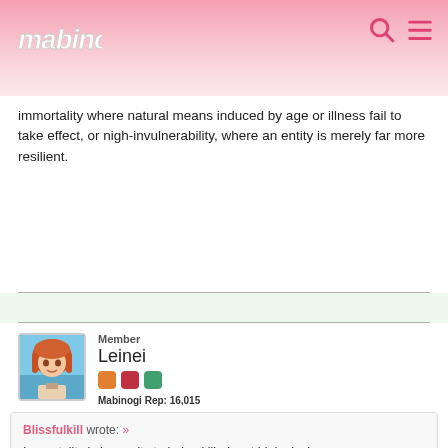Mabinogi
immortality where natural means induced by age or illness fail to take effect, or nigh-invulnerability, where an entity is merely far more resilient.
Member
Leinei
Mabinogi Rep: 16,015
Posts: 2,440
JULY 13, 2018
Blissfulkill wrote: »
Immortality is immunity to being killed, not biological